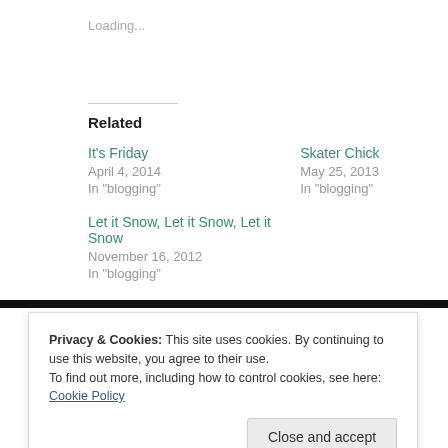Loading...
Related
It's Friday
April 4, 2014
In "blogging"
Skater Chick
May 25, 2013
In "blogging"
Let it Snow, Let it Snow, Let it Snow
November 16, 2012
In "blogging"
Privacy & Cookies: This site uses cookies. By continuing to use this website, you agree to their use.
To find out more, including how to control cookies, see here: Cookie Policy
Close and accept